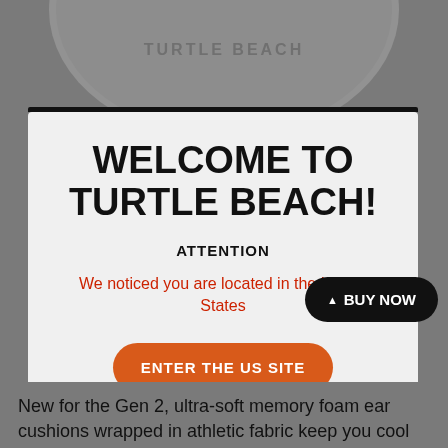[Figure (screenshot): Dark gray background with a Turtle Beach branded cap visible at the top, partially obscured by a modal dialog popup.]
WELCOME TO TURTLE BEACH!
ATTENTION
We noticed you are located in the United States
ENTER THE US SITE
Continue with UK Site
▲ BUY NOW
New for the Gen 2, ultra-soft memory foam ear cushions wrapped in athletic fabric keep you cool